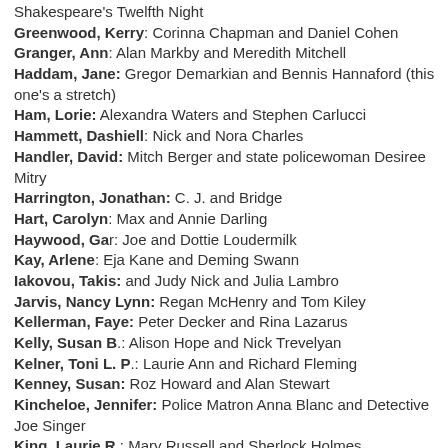Shakespeare's Twelfth Night
Greenwood, Kerry: Corinna Chapman and Daniel Cohen
Granger, Ann: Alan Markby and Meredith Mitchell
Haddam, Jane: Gregor Demarkian and Bennis Hannaford (this one's a stretch)
Ham, Lorie: Alexandra Waters and Stephen Carlucci
Hammett, Dashiell: Nick and Nora Charles
Handler, David: Mitch Berger and state policewoman Desiree Mitry
Harrington, Jonathan: C. J. and Bridge
Hart, Carolyn: Max and Annie Darling
Haywood, Gar: Joe and Dottie Loudermilk
Kay, Arlene: Eja Kane and Deming Swann
Iakovou, Takis: and Judy Nick and Julia Lambro
Jarvis, Nancy Lynn: Regan McHenry and Tom Kiley
Kellerman, Faye: Peter Decker and Rina Lazarus
Kelly, Susan B.: Alison Hope and Nick Trevelyan
Kelner, Toni L. P.: Laurie Ann and Richard Fleming
Kenney, Susan: Roz Howard and Alan Stewart
Kincheloe, Jennifer: Police Matron Anna Blanc and Detective Joe Singer
King, Laurie R.: Mary Russell and Sherlock Holmes